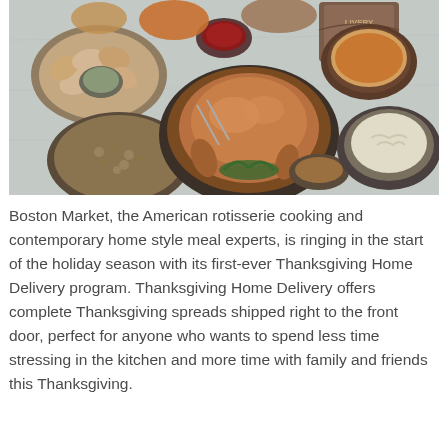[Figure (photo): Overhead view of a Thanksgiving feast spread on a wooden table, featuring a roasted turkey as the centerpiece, surrounded by bowls of stuffing, mashed potatoes, cranberry sauce, crackers with dip, pumpkin pie, and other side dishes. A Boston Market delivery box is visible in the upper right corner.]
Boston Market, the American rotisserie cooking and contemporary home style meal experts, is ringing in the start of the holiday season with its first-ever Thanksgiving Home Delivery program. Thanksgiving Home Delivery offers complete Thanksgiving spreads shipped right to the front door, perfect for anyone who wants to spend less time stressing in the kitchen and more time with family and friends this Thanksgiving.